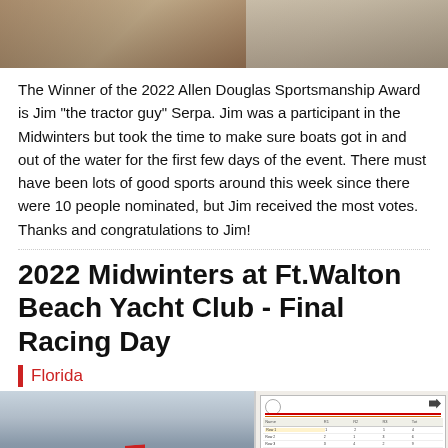[Figure (photo): Top photo showing shoes/feet on ground, split into two panels]
The Winner of the 2022 Allen Douglas Sportsmanship Award is Jim "the tractor guy" Serpa. Jim was a participant in the Midwinters but took the time to make sure boats got in and out of the water for the first few days of the event. There must have been lots of good sports around this week since there were 10 people nominated, but Jim received the most votes. Thanks and congratulations to Jim!
2022 Midwinters at Ft.Walton Beach Yacht Club - Final Racing Day
Florida
[Figure (photo): Two bottom photos: left shows cloudy sky with red sailboat flag/pennant, right shows a printed race scoring sheet with results table]